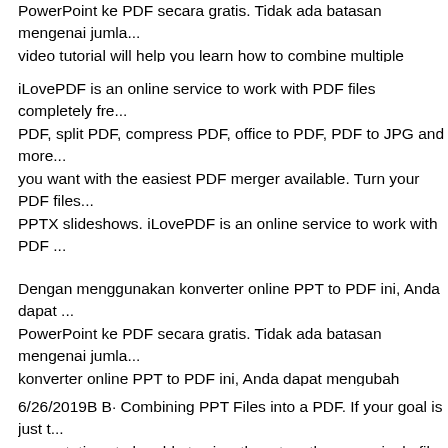PowerPoint ke PDF secara gratis. Tidak ada batasan mengenai jumla... video tutorial will help you learn how to combine multiple powerpoi... Commonly, professional copy and paste each slide from old ppt to ne...
iLovePDF is an online service to work with PDF files completely fre... PDF, split PDF, compress PDF, office to PDF, PDF to JPG and more... you want with the easiest PDF merger available. Turn your PDF files... PPTX slideshows. iLovePDF is an online service to work with PDF ... to use. Merge PDF, split PDF, compress PDF, office to PDF, PDF to ... PDFs in the order you want with the easiest PDF merger available. T... to edit PPT and PPTX slideshows.
Dengan menggunakan konverter online PPT to PDF ini, Anda dapat ... PowerPoint ke PDF secara gratis. Tidak ada batasan mengenai jumla... konverter online PPT to PDF ini, Anda dapat mengubah presentasi P... gratis. Tidak ada batasan mengenai jumlah вЂ¦
6/26/2019В В· Combining PPT Files into a PDF. If your goal is just t... presentations to be able to view them together as a single file, then ye... easiest method of the three. You can use a PDF merger to convert yo...